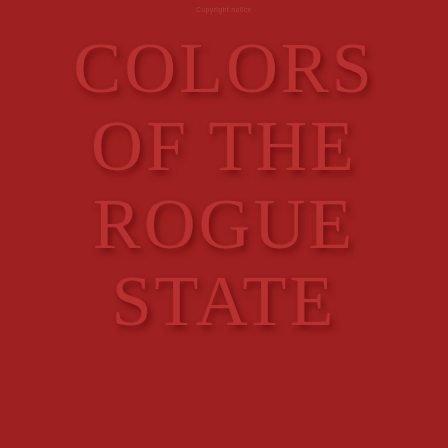Copyright notice (partially visible)
COLORS OF THE ROGUE STATE